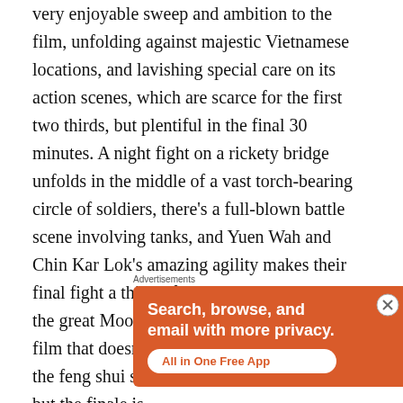very enjoyable sweep and ambition to the film, unfolding against majestic Vietnamese locations, and lavishing special care on its action scenes, which are scarce for the first two thirds, but plentiful in the final 30 minutes. A night fight on a rickety bridge unfolds in the middle of a vast torch-bearing circle of soldiers, there's a full-blown battle scene involving tanks, and Yuen Wah and Chin Kar Lok's amazing agility makes their final fight a thing of beauty, especially when the great Moon Lee cuts in. It is a lopsided film that doesn't engage until its final tier, and the feng shui stakes are often a bit abstruse, but the finale is
Advertisements
[Figure (illustration): DuckDuckGo advertisement banner on orange background showing 'Search, browse, and email with more privacy. All in One Free App' with a phone mockup displaying the DuckDuckGo logo and brand name.]